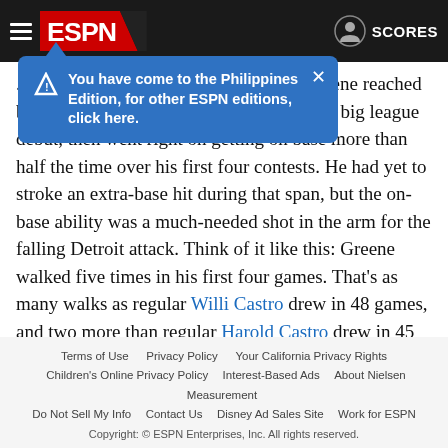ESPN - SCORES
You have come to the Philippines Edition, for other ESPN editions, click here.
...has been a dreary Tigers campaign. Greene reached base four times and scored two runs in his big league debut, then went right on getting on base more than half the time over his first four contests. He had yet to stroke an extra-base hit during that span, but the on-base ability was a much-needed shot in the arm for the falling Detroit attack. Think of it like this: Greene walked five times in his first four games. That's as many walks as regular Willi Castro drew in 48 games, and two more than regular Harold Castro drew in 45 games. Only Oakland has reached base at a lower clip than the Tigers this season. -- Doolittle
Terms of Use | Privacy Policy | Your California Privacy Rights | Children's Online Privacy Policy | Interest-Based Ads | About Nielsen Measurement | Do Not Sell My Info | Contact Us | Disney Ad Sales Site | Work for ESPN | Copyright: © ESPN Enterprises, Inc. All rights reserved.